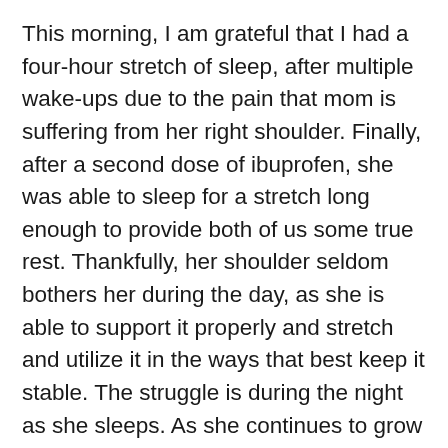This morning, I am grateful that I had a four-hour stretch of sleep, after multiple wake-ups due to the pain that mom is suffering from her right shoulder. Finally, after a second dose of ibuprofen, she was able to sleep for a stretch long enough to provide both of us some true rest. Thankfully, her shoulder seldom bothers her during the day, as she is able to support it properly and stretch and utilize it in the ways that best keep it stable. The struggle is during the night as she sleeps. As she continues to grow stronger, she adjusts her sleep position more and more, yet doing so in a way that does not cause pain to her shoulder, is extraordinarily difficult, particularly when she